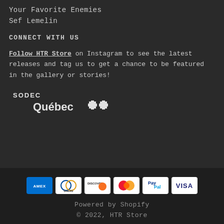Your Favorite Enemies
Sef Lemelin
CONNECT WITH US
Follow HTR Store on Instagram to see the latest releases and tag us to get a chance to be featured in the gallery or stories!
[Figure (logo): SODEC Québec logo with fleur-de-lis cross symbols]
[Figure (infographic): Payment method icons: American Express, Diners Club, Discover, Mastercard, PayPal, Visa]
Powered by Shopify
© 2022, HTR Store